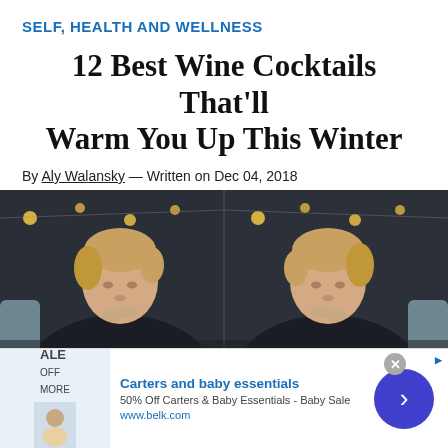SELF, HEALTH AND WELLNESS
12 Best Wine Cocktails That'll Warm You Up This Winter
By Aly Walansky — Written on Dec 04, 2018
[Figure (photo): Mirrored photo of a young woman with short blonde hair wearing a black top, sitting in a cozy indoor setting with string lights in background]
[Figure (infographic): Advertisement banner: Carters and baby essentials. 50% Off Carters & Baby Essentials - Baby Sale. www.belk.com]